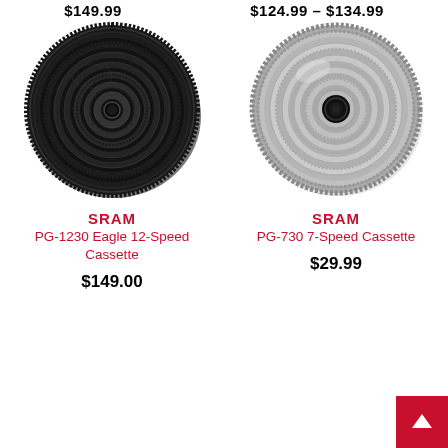$149.99
$124.99 – $134.99
[Figure (photo): Black SRAM PG-1230 Eagle 12-Speed Cassette bicycle gear]
SRAM
PG-1230 Eagle 12-Speed Cassette
$149.00
[Figure (photo): Silver SRAM PG-730 7-Speed Cassette bicycle gear]
SRAM
PG-730 7-Speed Cassette
$29.99